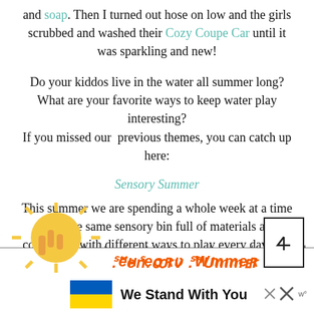and soap. Then I turned out hose on low and the girls scrubbed and washed their Cozy Coupe Car until it was sparkling and new!
Do your kiddos live in the water all summer long? What are your favorite ways to keep water play interesting?
If you missed our previous themes, you can catch up here:
Sensory Summer
This summer we are spending a whole week at a time using the same sensory bin full of materials and coming up with different ways to play every day. See you next week for our last bin of the summer, water beads!
[Figure (infographic): Bottom banner showing a Sensory Summer logo with a cartoon sun, orange italic text reading 'Sensory Summer', and a 'We Stand With You' banner with a Ukrainian flag. There is also a scroll-to-top icon and close (X) buttons.]